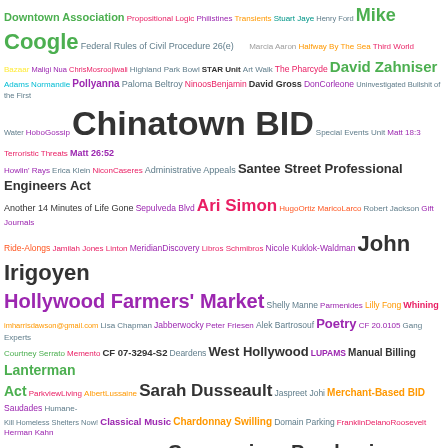[Figure (infographic): A word cloud containing terms, names, and phrases from Los Angeles government/community context. Words vary in size, color, and weight indicating frequency or importance. Includes names like Miranda Paster, Carol Massie, Taylor Bazley, Emily Alpert Reyes, John Irigoyen, Chinatown BID, Hollywood Farmers Market, Coronavirus Pandemic, Highland Park, and many others.]